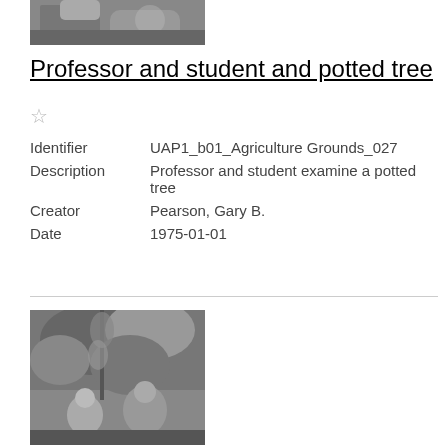[Figure (photo): Black and white photograph of professor and student with potted tree, partially cropped at top]
Professor and student and potted tree
☆
Identifier	UAP1_b01_Agriculture Grounds_027
Description	Professor and student examine a potted tree
Creator	Pearson, Gary B.
Date	1975-01-01
[Figure (photo): Black and white photograph showing two people among trees and shrubs, partially cropped at bottom]